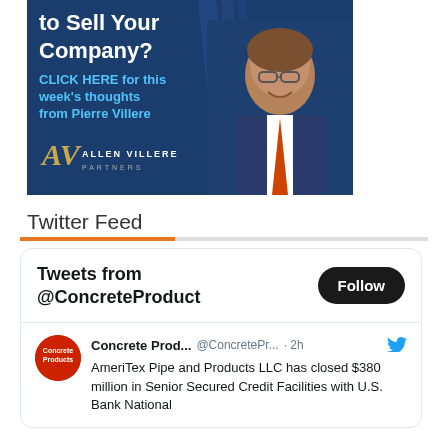[Figure (photo): Advertisement banner for Allen Villere Partners with text 'to Sell Your Company? CLICK HERE for this week's thoughts from Pierre Villere' overlaid on a dark blue background with a photo of a smiling man in a suit. Allen Villere Partners logo visible bottom-left.]
Twitter Feed
Tweets from @ConcreteProduct
Concrete Prod... @ConcretePr... · 2h
AmeriTex Pipe and Products LLC has closed $380 million in Senior Secured Credit Facilities with U.S. Bank National